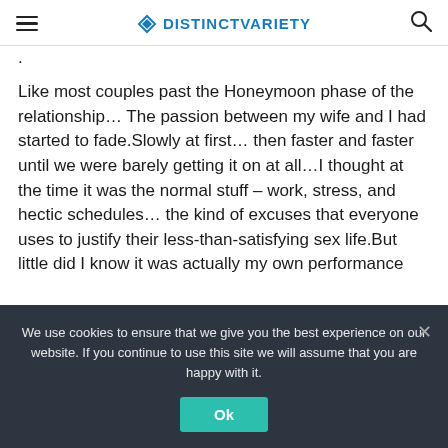DISTINCTVARIETY
Like most couples past the Honeymoon phase of the relationship… The passion between my wife and I had started to fade.Slowly at first… then faster and faster until we were barely getting it on at all…I thought at the time it was the normal stuff – work, stress, and hectic schedules… the kind of excuses that everyone uses to justify their less-than-satisfying sex life.But little did I know it was actually my own performance
We use cookies to ensure that we give you the best experience on our website. If you continue to use this site we will assume that you are happy with it.